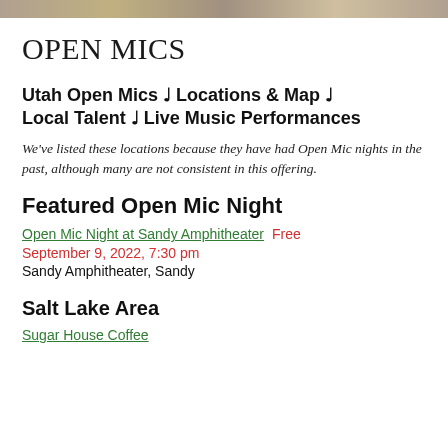[Figure (photo): Horizontal photo strip at top of page showing partial images]
OPEN MICS
Utah Open Mics ♩ Locations & Map ♩ Local Talent ♩ Live Music Performances
We've listed these locations because they have had Open Mic nights in the past, although many are not consistent in this offering.
Featured Open Mic Night
Open Mic Night at Sandy Amphitheater Free
September 9, 2022, 7:30 pm
Sandy Amphitheater, Sandy
Salt Lake Area
Sugar House Coffee